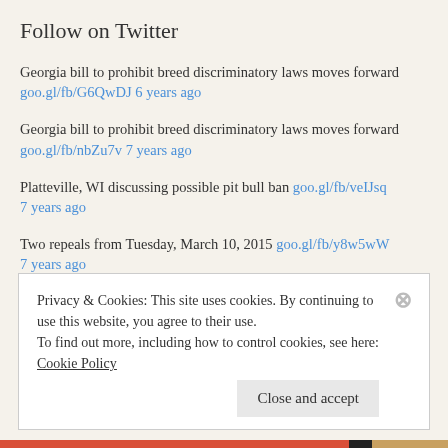Follow on Twitter
Georgia bill to prohibit breed discriminatory laws moves forward goo.gl/fb/G6QwDJ 6 years ago
Georgia bill to prohibit breed discriminatory laws moves forward goo.gl/fb/nbZu7v 7 years ago
Platteville, WI discussing possible pit bull ban goo.gl/fb/veIJsq 7 years ago
Two repeals from Tuesday, March 10, 2015 goo.gl/fb/y8w5wW 7 years ago
Privacy & Cookies: This site uses cookies. By continuing to use this website, you agree to their use. To find out more, including how to control cookies, see here: Cookie Policy
Close and accept